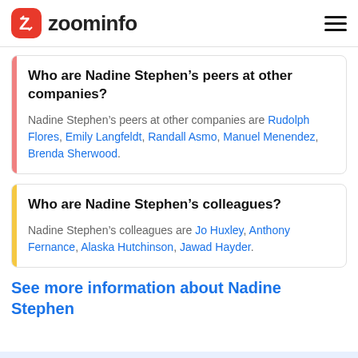zoominfo
Who are Nadine Stephen’s peers at other companies?
Nadine Stephen’s peers at other companies are Rudolph Flores, Emily Langfeldt, Randall Asmo, Manuel Menendez, Brenda Sherwood.
Who are Nadine Stephen’s colleagues?
Nadine Stephen’s colleagues are Jo Huxley, Anthony Fernance, Alaska Hutchinson, Jawad Hayder.
See more information about Nadine Stephen